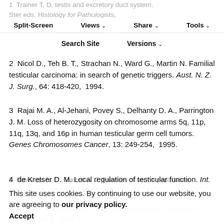1  Trainer T. D. testis and excretory duct system. Sternberg S. S. eds. Histology for Pathologists, 750, Raven Press New York  1992.
Split-Screen  Views  Share  Tools  Search Site  Versions
2  Nicol D., Teh B. T., Strachan N., Ward G., Martin N. Familial testicular carcinoma: in search of genetic triggers. Aust. N. Z. J. Surg., 64: 418-420,  1994.
3  Rajai M. A., Al-Jehani, Povey S., Delhanty D. A., Parrington J. M. Loss of heterozygosity on chromosome arms 5q, 11p, 11q, 13q, and 16p in human testicular germ cell tumors. Genes Chromosomes Cancer, 13: 249-254,  1995.
4  de Kretser D. M. Local regulation of testicular function. Int. Rev. Cytol., 109: 89-112,  1987.
5  Rawlings N. D., Barrett A. J. Families of serine peptidases. Methods Enzymol, 244: 19-61,  1994.
This site uses cookies. By continuing to use our website, you are agreeing to our privacy policy.
Accept
Yanagata K., Murayama K., Okabe M., Toshimori K., Nakanishi T., Kashiwabara S., Baba T. Acrosin...